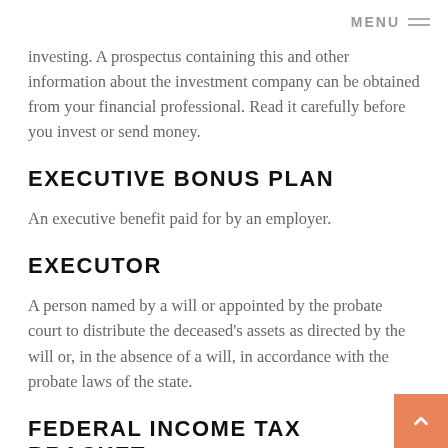MENU
investing. A prospectus containing this and other information about the investment company can be obtained from your financial professional. Read it carefully before you invest or send money.
EXECUTIVE BONUS PLAN
An executive benefit paid for by an employer.
EXECUTOR
A person named by a will or appointed by the probate court to distribute the deceased's assets as directed by the will or, in the absence of a will, in accordance with the probate laws of the state.
FEDERAL INCOME TAX BRACKET